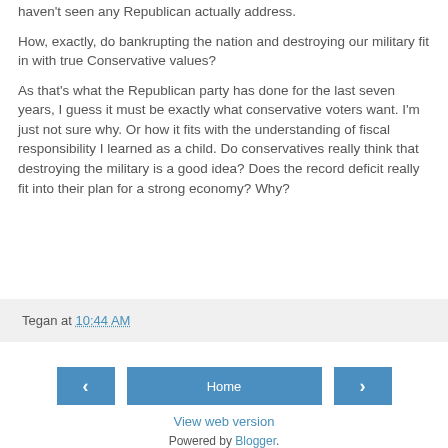haven't seen any Republican actually address.
How, exactly, do bankrupting the nation and destroying our military fit in with true Conservative values?
As that's what the Republican party has done for the last seven years, I guess it must be exactly what conservative voters want. I'm just not sure why. Or how it fits with the understanding of fiscal responsibility I learned as a child. Do conservatives really think that destroying the military is a good idea? Does the record deficit really fit into their plan for a strong economy? Why?
Tegan at 10:44 AM
Home
View web version
Powered by Blogger.